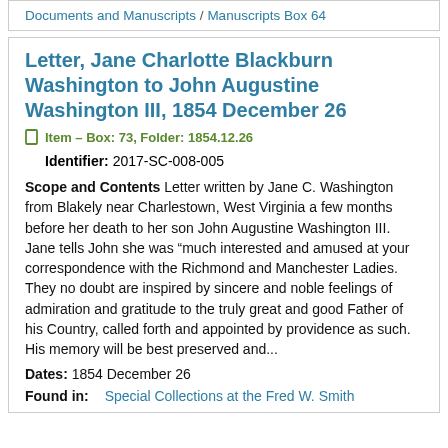Documents and Manuscripts / Manuscripts Box 64
Letter, Jane Charlotte Blackburn Washington to John Augustine Washington III, 1854 December 26
Item — Box: 73, Folder: 1854.12.26
Identifier: 2017-SC-008-005
Scope and Contents Letter written by Jane C. Washington from Blakely near Charlestown, West Virginia a few months before her death to her son John Augustine Washington III. Jane tells John she was "much interested and amused at your correspondence with the Richmond and Manchester Ladies. They no doubt are inspired by sincere and noble feelings of admiration and gratitude to the truly great and good Father of his Country, called forth and appointed by providence as such. His memory will be best preserved and...
Dates: 1854 December 26
Found in: Special Collections at the Fred W. Smith